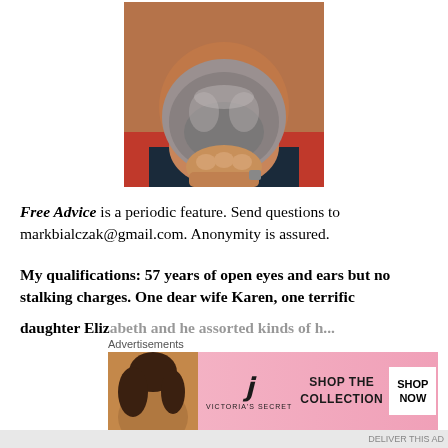[Figure (photo): Close-up photo of a man's chin and lower face showing a salt-and-pepper beard, with a hand visible near the chin area. Person wearing a dark shirt with red collar visible.]
Free Advice is a periodic feature. Send questions to markbialczak@gmail.com. Anonymity is assured.
My qualifications: 57 years of open eyes and ears but no stalking charges. One dear wife Karen, one terrific daughter Elizabeth and...
[Figure (advertisement): Victoria's Secret advertisement with pink background showing a model, VS logo, text SHOP THE COLLECTION, and a white SHOP NOW button.]